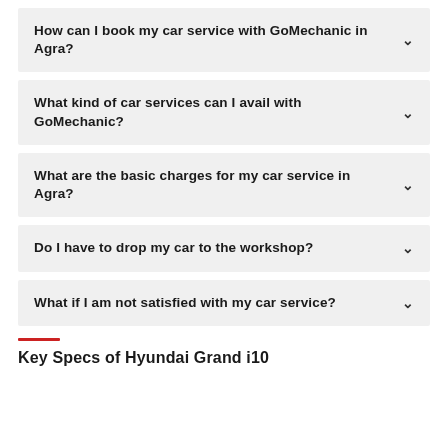How can I book my car service with GoMechanic in Agra?
What kind of car services can I avail with GoMechanic?
What are the basic charges for my car service in Agra?
Do I have to drop my car to the workshop?
What if I am not satisfied with my car service?
Key Specs of Hyundai Grand i10